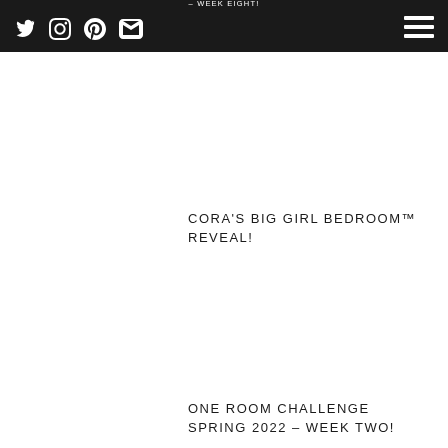– WEEK EIGHT!
Navigation bar with Twitter, Instagram, Pinterest, Email icons and hamburger menu
CORA'S BIG GIRL BEDROOM™ REVEAL!
ONE ROOM CHALLENGE SPRING 2022 – WEEK TWO!